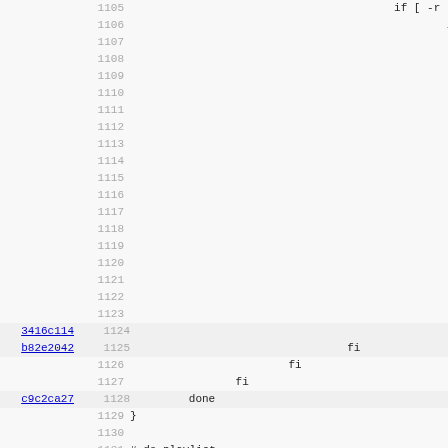Code diff view showing lines 1105-1137 of a shell script with git hashes 3416c114, b82e2042, c9c2ca27
Lines 1105-1123: empty lines with line numbers only
1105: (git context)  if [ -r "$AB
1106:                    if c
1124: (3416c114)                                    fi
1125: (b82e2042)                         fi
1126:                       fi
1127:             fi
1128: (c9c2ca27)      done
1129: }
1130: (empty)
1131: # do_playlist
1132: # Create the playlist if wanted
1133: # Variables used:
1134: # PLAYLISTFORMAT, PLAYLISTDATAPREFIX, VAPLAY
1135: # VARIOUSARTISTS, OUTPUTDIR
1136: do_playlist ()
1137: {